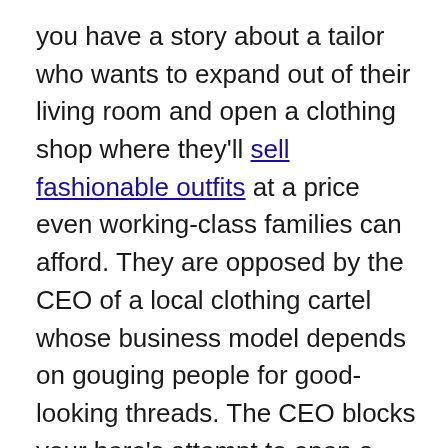you have a story about a tailor who wants to expand out of their living room and open a clothing shop where they'll sell fashionable outfits at a price even working-class families can afford. They are opposed by the CEO of a local clothing cartel whose business model depends on gouging people for good-looking threads. The CEO blocks your hero's attempt to open a new space, mocks their designs in the newspaper, and even sends goons to destroy the hero's sewing equipment.
Clearly, this story is building toward a climax of the hero putting on an impromptu fashion show in town square, where so many people love the designs that the hero is flooded with money and orders, making it impossible for the villain to stop them. But